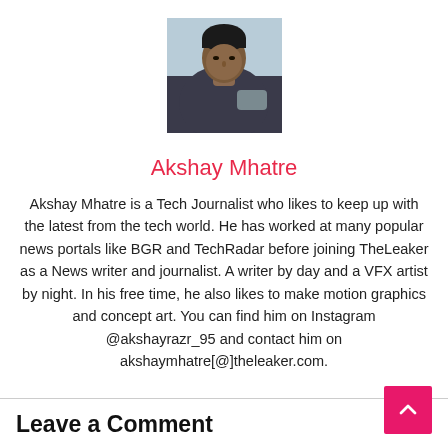[Figure (photo): Author photo of Akshay Mhatre, a young man in a dark shirt, photographed from the side/front, sitting against a light background]
Akshay Mhatre
Akshay Mhatre is a Tech Journalist who likes to keep up with the latest from the tech world. He has worked at many popular news portals like BGR and TechRadar before joining TheLeaker as a News writer and journalist. A writer by day and a VFX artist by night. In his free time, he also likes to make motion graphics and concept art. You can find him on Instagram @akshayrazr_95 and contact him on akshaymhatre[@]theleaker.com.
Leave a Comment